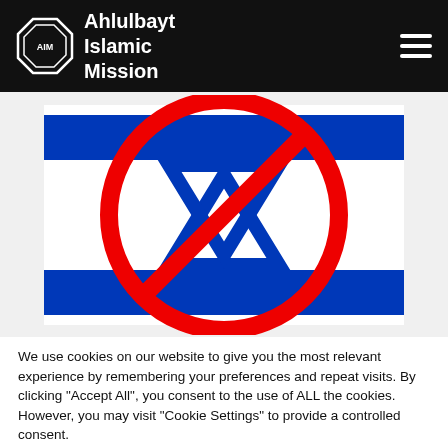Ahlulbayt Islamic Mission
[Figure (illustration): Israeli flag with a large red prohibition circle-and-slash overlaid on it, indicating anti-Israel sentiment.]
We use cookies on our website to give you the most relevant experience by remembering your preferences and repeat visits. By clicking "Accept All", you consent to the use of ALL the cookies. However, you may visit "Cookie Settings" to provide a controlled consent.
Cookie Settings | Accept All